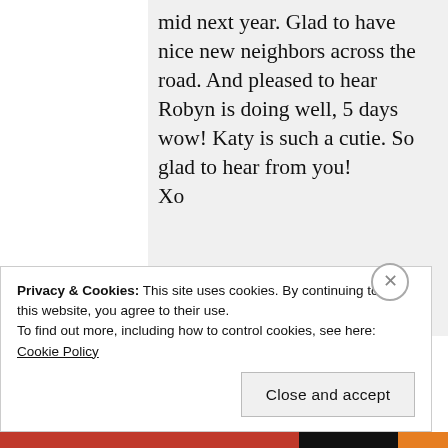mid next year. Glad to have nice new neighbors across the road. And pleased to hear Robyn is doing well, 5 days wow! Katy is such a cutie. So glad to hear from you!
Xo
Like
Privacy & Cookies: This site uses cookies. By continuing to use this website, you agree to their use.
To find out more, including how to control cookies, see here: Cookie Policy
Close and accept